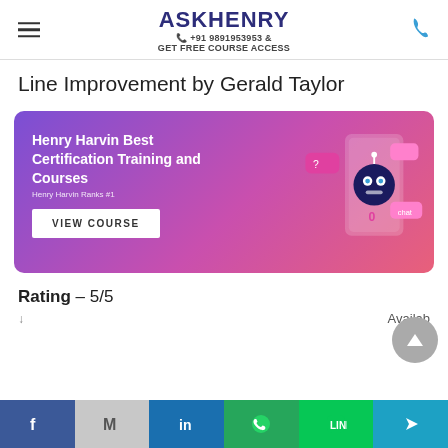ASKHENRY +91 9891953953 & GET FREE COURSE ACCESS
Line Improvement by Gerald Taylor
[Figure (illustration): Henry Harvin Best Certification Training and Courses banner with VIEW COURSE button and robot illustration on gradient background. Text: Henry Harvin Ranks #1]
Rating – 5/5
Social share bar: Facebook, Gmail, LinkedIn, WhatsApp, Line, Telegram